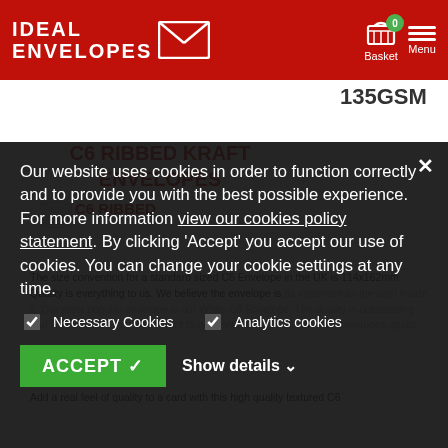IDEAL ENVELOPES — Basket 0 — Menu
135GSM
C6 RIBBED KRAFT ENVELOPES
C6 RIBBED
Our website uses cookies in order to function correctly and to provide you with the best possible experience. For more information view our cookies policy statement. By clicking 'Accept' you accept our use of cookies. You can change your cookie settings at any time.
Necessary Cookies   Analytics cookies
ACCEPT   Show details
The size convention for a standard sized C6 Envelope in the UK is 114x162mm. Quality is everything to us. We believe the envelope is as important as the card inside it. Our most popular envelope is our White C6 Envelope. The quality is outstanding and for the prices you won't want to go anywhere else to buy your envelopes again.
Add a real feel of quality to a card with this high quality textured C6